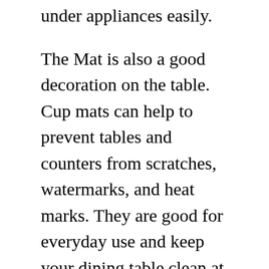under appliances easily.
The Mat is also a good decoration on the table. Cup mats can help to prevent tables and counters from scratches, watermarks, and heat marks. They are good for everyday use and keep your dining table clean at all times.
3. cggjt heat resistant mat for air fryer(round):
This is a heat-resistant mat that is also durable and anti-slip. It is perfect for use with coffee makers, microwaves, air...